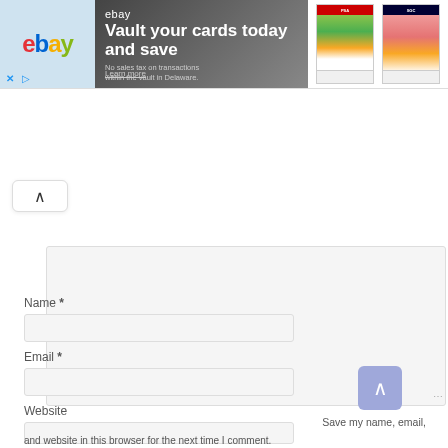[Figure (screenshot): eBay advertisement banner showing 'Vault your cards today and save' with trading card images on the right]
[Figure (screenshot): Collapse/chevron up button at top left of comment section]
[Figure (screenshot): Comment textarea input field (empty)]
Name *
[Figure (screenshot): Name input field (empty)]
Email *
[Figure (screenshot): Email input field (empty)]
Website
[Figure (screenshot): Website input field (empty)]
Save my name, email,
and website in this browser for the next time I comment.